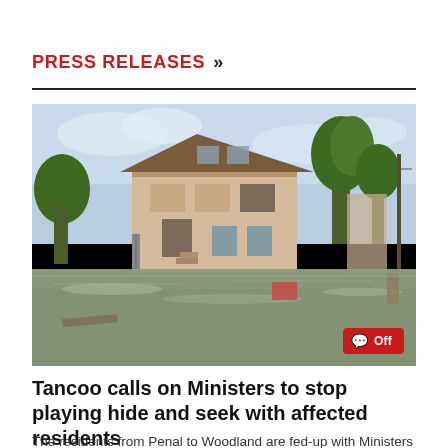PRESS RELEASES »
[Figure (photo): A flooded residential area showing a two-storey house surrounded by muddy floodwater, with trees and utility poles visible in the background.]
Tancoo calls on Ministers to stop playing hide and seek with affected residents
The residents from Penal to Woodland are fed-up with Ministers